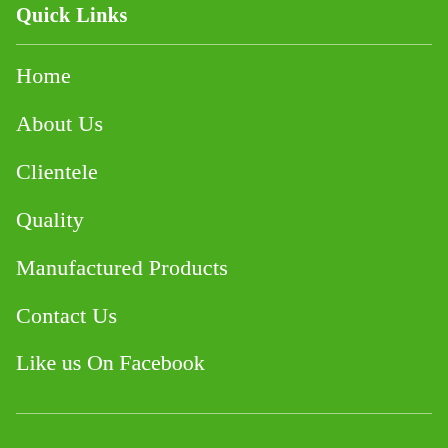Quick Links
Home
About Us
Clientele
Quality
Manufactured Products
Contact Us
Like us On Facebook